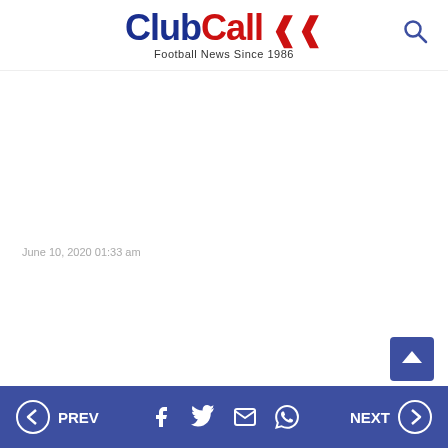ClubCall Football News Since 1986
June 10, 2020 01:33 am
PREV | social icons | NEXT